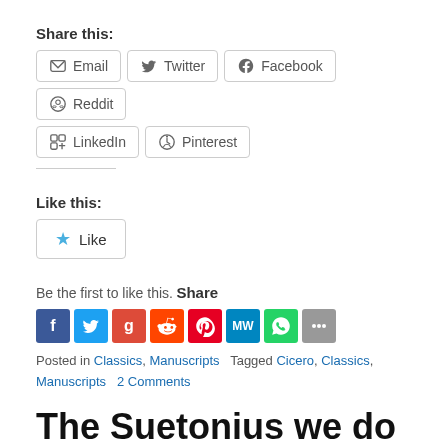Share this:
Email  Twitter  Facebook  Reddit  LinkedIn  Pinterest
Like this:
Like
Be the first to like this.
Share
[Figure (infographic): Social share icon buttons: Facebook, Twitter, Google, Reddit, Pinterest, MeWe, WhatsApp, More]
Posted in Classics, Manuscripts   Tagged Cicero, Classics, Manuscripts   2 Comments
The Suetonius we do not know
Posted on February 5, 2009 by Roger Pearse
I doubt that many people reading this blog are unfamiliar with the master work of Q. Suetonius Tranquillus, Lives of the 12 Caesars (and if you are, go and buy the Penguin translation by Robert Graves NOW).  But how many of